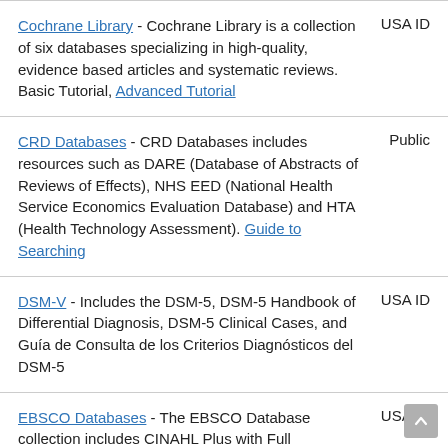Cochrane Library - Cochrane Library is a collection of six databases specializing in high-quality, evidence based articles and systematic reviews. Basic Tutorial, Advanced Tutorial | USA ID
CRD Databases - CRD Databases includes resources such as DARE (Database of Abstracts of Reviews of Effects), NHS EED (National Health Service Economics Evaluation Database) and HTA (Health Technology Assessment). Guide to Searching | Public
DSM-V - Includes the DSM-5, DSM-5 Handbook of Differential Diagnosis, DSM-5 Clinical Cases, and Guía de Consulta de los Criterios Diagnósticos del DSM-5 | USA ID
EBSCO Databases - The EBSCO Database collection includes CINAHL Plus with Full | USA ID